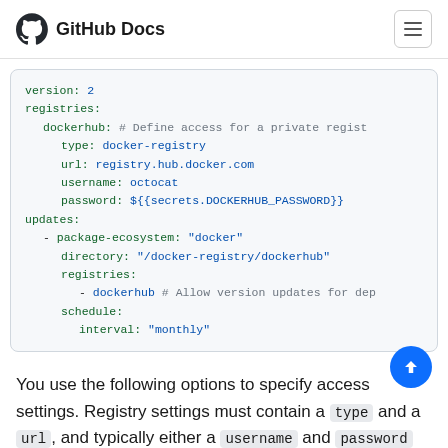GitHub Docs
version: 2
registries:
  dockerhub: # Define access for a private regist
    type: docker-registry
    url: registry.hub.docker.com
    username: octocat
    password: ${{secrets.DOCKERHUB_PASSWORD}}
updates:
  - package-ecosystem: "docker"
    directory: "/docker-registry/dockerhub"
    registries:
      - dockerhub # Allow version updates for dep
    schedule:
      interval: "monthly"
You use the following options to specify access settings. Registry settings must contain a type and a url, and typically either a username and password combination